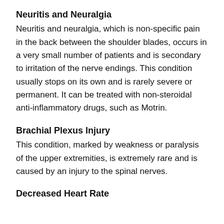Neuritis and Neuralgia
Neuritis and neuralgia, which is non-specific pain in the back between the shoulder blades, occurs in a very small number of patients and is secondary to irritation of the nerve endings. This condition usually stops on its own and is rarely severe or permanent. It can be treated with non-steroidal anti-inflammatory drugs, such as Motrin.
Brachial Plexus Injury
This condition, marked by weakness or paralysis of the upper extremities, is extremely rare and is caused by an injury to the spinal nerves.
Decreased Heart Rate